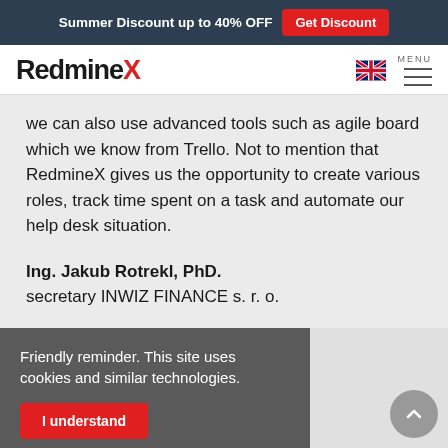Summer Discount up to 40% OFF  Get Discount
[Figure (logo): RedmineX logo with red X and navigation bar with UK flag and menu icon]
we can also use advanced tools such as agile board which we know from Trello. Not to mention that RedmineX gives us the opportunity to create various roles, track time spent on a task and automate our help desk situation.
Ing. Jakub Rotrekl, PhD.
secretary INWIZ FINANCE s. r. o.
Friendly reminder. This site uses cookies and similar technologies.